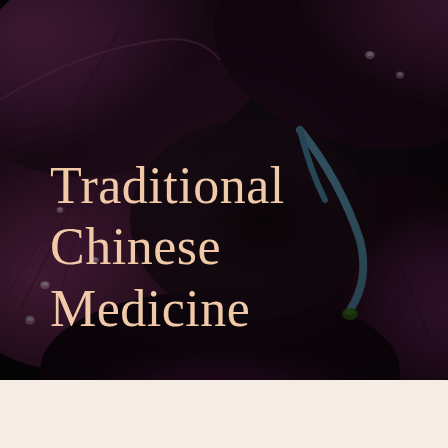[Figure (photo): Close-up macro photo of dark purple/magenta hydrangea flowers with water droplets on petals, dark moody background]
Traditional Chinese Medicine